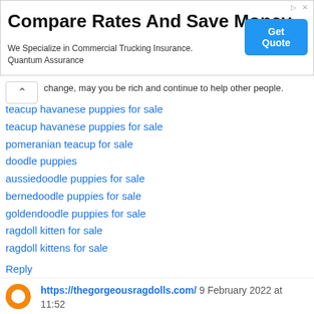[Figure (screenshot): Advertisement banner: 'Compare Rates And Save Money' for commercial trucking insurance by Quantum Assurance with a blue 'Get Quote' button]
change, may you be rich and continue to help other people.
teacup havanese puppies for sale
teacup havanese puppies for sale
pomeranian teacup for sale
doodle puppies
aussiedoodle puppies for sale
bernedoodle puppies for sale
goldendoodle puppies for sale
ragdoll kitten for sale
ragdoll kittens for sale
Reply
https://thegorgeousragdolls.com/ 9 February 2022 at 11:52
Ahaa, its nice dialogue about this piece of writing at this place at this webpage,